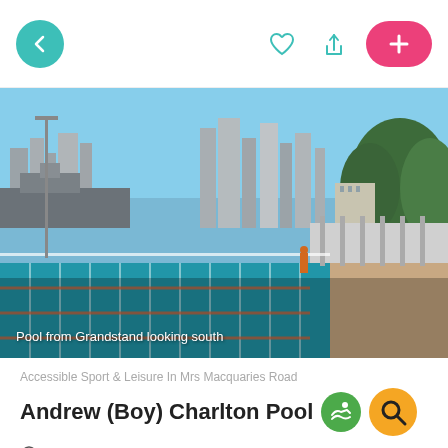[Figure (screenshot): Mobile app navigation bar with back arrow button (teal circle), heart icon, share icon, and pink plus button on the right]
[Figure (photo): Outdoor swimming pool (Andrew Boy Charlton Pool) viewed from grandstand looking south, with Sydney Harbour in background, city skyline, and blue pool lanes in foreground. Caption reads: Pool from Grandstand looking south]
Accessible Sport & Leisure In Mrs Macquaries Road
Andrew (Boy) Charlton Pool
1C Mrs Macquaries Rd, Sydney, 2000
(02) 9358 6686